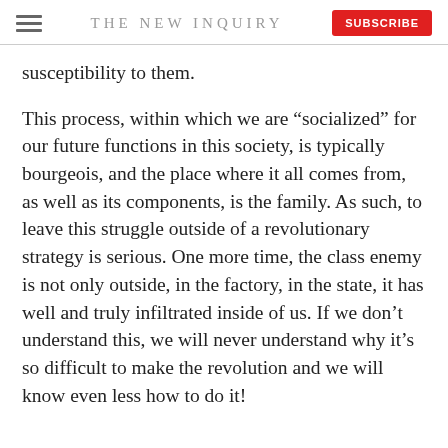THE NEW INQUIRY
susceptibility to them.
This process, within which we are “socialized” for our future functions in this society, is typically bourgeois, and the place where it all comes from, as well as its components, is the family. As such, to leave this struggle outside of a revolutionary strategy is serious. One more time, the class enemy is not only outside, in the factory, in the state, it has well and truly infiltrated inside of us. If we don’t understand this, we will never understand why it’s so difficult to make the revolution and we will know even less how to do it!